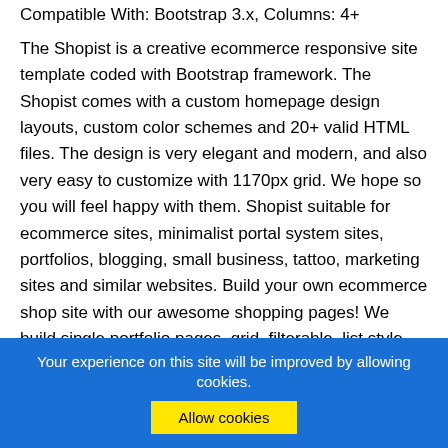Compatible With: Bootstrap 3.x, Columns: 4+
The Shopist is a creative ecommerce responsive site template coded with Bootstrap framework. The Shopist comes with a custom homepage design layouts, custom color schemes and 20+ valid HTML files. The design is very elegant and modern, and also very easy to customize with 1170px grid. We hope so you will feel happy with them. Shopist suitable for ecommerce sites, minimalist portal system sites, portfolios, blogging, small business, tattoo, marketing sites and similar websites. Build your own ecommerce shop site with our awesome shopping pages! We build single portfolio pages, grid, filterable, list style blog, fullwidth lists blog, custom pages, maintenance mode, wide and boxed layout
Your experience on this site will be improved by allowing cookies.
Allow cookies